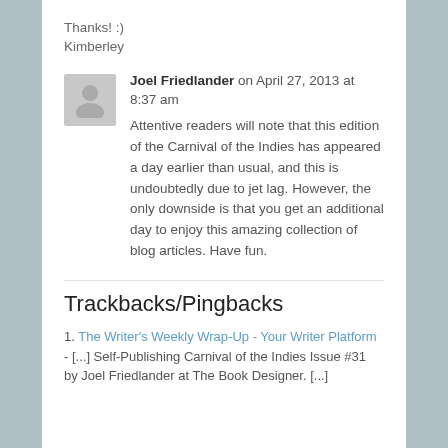Thanks! :)
Kimberley
Joel Friedlander on April 27, 2013 at 8:37 am
Attentive readers will note that this edition of the Carnival of the Indies has appeared a day earlier than usual, and this is undoubtedly due to jet lag. However, the only downside is that you get an additional day to enjoy this amazing collection of blog articles. Have fun.
Trackbacks/Pingbacks
1. The Writer's Weekly Wrap-Up - Your Writer Platform - [...] Self-Publishing Carnival of the Indies Issue #31 by Joel Friedlander at The Book Designer. [...]